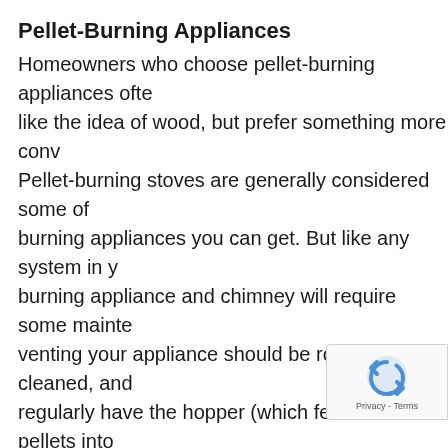Pellet-Burning Appliances
Homeowners who choose pellet-burning appliances ofte like the idea of wood, but prefer something more conv Pellet-burning stoves are generally considered some of burning appliances you can get. But like any system in y burning appliance and chimney will require some mainte venting your appliance should be routinely cleaned, and regularly have the hopper (which feeds the pellets into exhaust pipes, and other parts cleaned, to make sure th don't lead to damage. Our technicians have years of ex pellet appliances– let us help keep yours at its best!
Oil Appliances
The most commonly noted visible byproduct of combu appliances is generally referred to as oil soot (unburne can build up on the flue walls and, if left negle of flue gases. One of these gases is carbon m properly up and out of the flue, may double back into